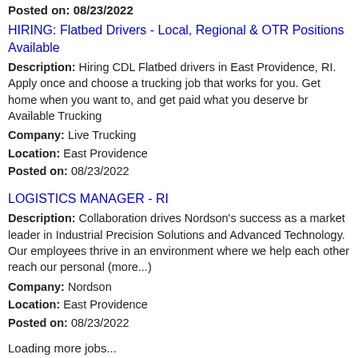Posted on: 08/23/2022
HIRING: Flatbed Drivers - Local, Regional & OTR Positions Available
Description: Hiring CDL Flatbed drivers in East Providence, RI. Apply once and choose a trucking job that works for you. Get home when you want to, and get paid what you deserve br Available Trucking
Company: Live Trucking
Location: East Providence
Posted on: 08/23/2022
LOGISTICS MANAGER - RI
Description: Collaboration drives Nordson's success as a market leader in Industrial Precision Solutions and Advanced Technology. Our employees thrive in an environment where we help each other reach our personal (more...)
Company: Nordson
Location: East Providence
Posted on: 08/23/2022
Loading more jobs...
Log In or Create An Account
Username: